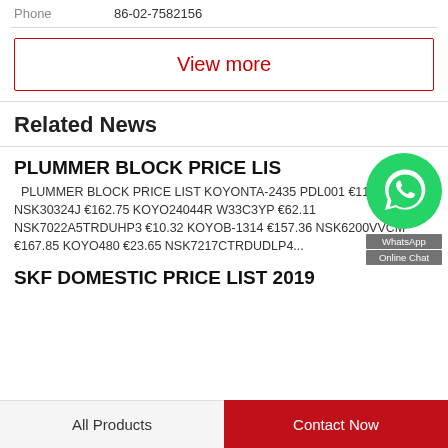Phone   86-02-7582156
View more
Related News
PLUMMER BLOCK PRICE LIST
PLUMMER BLOCK PRICE LIST KOYONTA-2435 PDL001 €114.80 NSK30324J €162.75 KOYO24044R W33C3YP €62.11 NSK7022A5TRDUHP3 €10.32 KOYOB-1314 €157.36 NSK6200VVCM €167.85 KOYO480 €23.65 NSK7217CTRDUDLP4...
SKF DOMESTIC PRICE LIST 2019
All Products   Contact Now